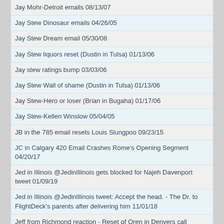Jay Mohr-Detroit emails 08/13/07
Jay Stew Dinosaur emails 04/26/05
Jay Stew Dream email 05/30/08
Jay Stew liquors reset (Dustin in Tulsa) 01/13/06
Jay stew ratings bump 03/03/06
Jay Stew Wall of shame (Dustin in Tulsa) 01/13/06
Jay Stew-Hero or loser (Brian in Bugaha) 01/17/06
Jay Stew-Kellen Winslow 05/04/05
JB in the 785 email resets Louis Slungpoo 09/23/15
JC in Calgary 420 Email Crashes Rome's Opening Segment 04/20/17
Jed in Illinois @JedinIllinois gets blocked for Najeh Davenport tweet 01/09/19
Jed in Illinois @JedinIllinois tweet: Accept the head. - The Dr. to FlightDeck's parents after delivering him 11/01/18
Jeff from Richmond reaction - Reset of Oren in Denvers call 05/03/18
Jeff from Richmond's Christmas card debuted on tv, clones react 12/15/20
Jeff in Chicago (North Side) cracks on Adam Silver's ears with a hubcap blast 05/06/14
Jeff in Lincoln emails about Guns n Roses reunion, gets Fat Axl reaction from other emailers 01/05/16
Jeff in Lincoln sets the tone with the first email of 2017 01/03/17
Jeff in Phoenix Relic Hunting emails 03/14/05
Jeff in Syracuse and John in Pueblo email 04/04/08